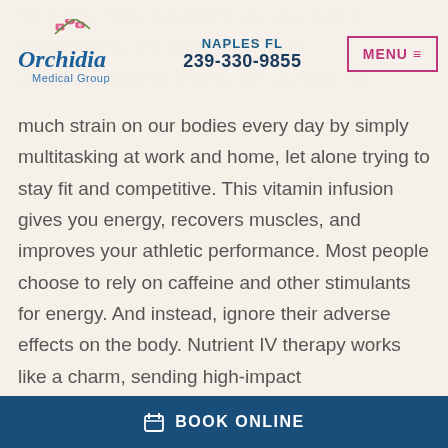[Figure (logo): Orchidia Medical Group logo with pink orchid flowers and cursive text]
NAPLES FL
239-330-9855
No matter how consistent you are, taking supplements and eating well doesn't guarantee optimal fitness. We put way too much strain on our bodies every day by simply multitasking at work and home, let alone trying to stay fit and competitive. This vitamin infusion gives you energy, recovers muscles, and improves your athletic performance. Most people choose to rely on caffeine and other stimulants for energy. And instead, ignore their adverse effects on the body. Nutrient IV therapy works like a charm, sending high-impact
BOOK ONLINE